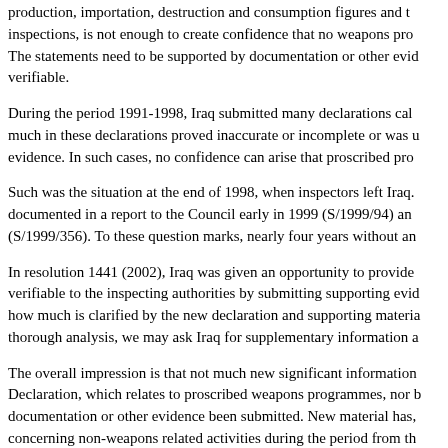production, importation, destruction and consumption figures and the inspections, is not enough to create confidence that no weapons prog The statements need to be supported by documentation or other evid verifiable.
During the period 1991-1998, Iraq submitted many declarations call much in these declarations proved inaccurate or incomplete or was u evidence. In such cases, no confidence can arise that proscribed prog
Such was the situation at the end of 1998, when inspectors left Iraq. documented in a report to the Council early in 1999 (S/1999/94) and (S/1999/356). To these question marks, nearly four years without an
In resolution 1441 (2002), Iraq was given an opportunity to provide verifiable to the inspecting authorities by submitting supporting evid how much is clarified by the new declaration and supporting materia thorough analysis, we may ask Iraq for supplementary information a
The overall impression is that not much new significant information Declaration, which relates to proscribed weapons programmes, nor b documentation or other evidence been submitted. New material has, concerning non-weapons related activities during the period from th
It would appear that the part that covers biological weapons is essen previous declaration provided by Iraq to UNSCOM in September 19 basis of the current Declaration is a declaration submitted by Iraq in